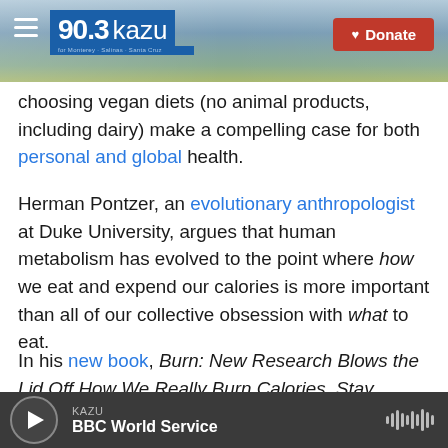[Figure (screenshot): KAZU 90.3 radio station website header banner with logo, hamburger menu, and Donate button over a coastal landscape background.]
choosing vegan diets (no animal products, including dairy) make a compelling case for both personal and global health.
Herman Pontzer, an evolutionary anthropologist at Duke University, argues that human metabolism has evolved to the point where how we eat and expend our calories is more important than all of our collective obsession with what to eat.
In his new book, Burn: New Research Blows the Lid Off How We Really Burn Calories, Stay Healthy and Lose Weight, Pontzer breaks down the science of
[Figure (screenshot): Audio player bar at the bottom showing KAZU / BBC World Service with play button and waveform icon.]